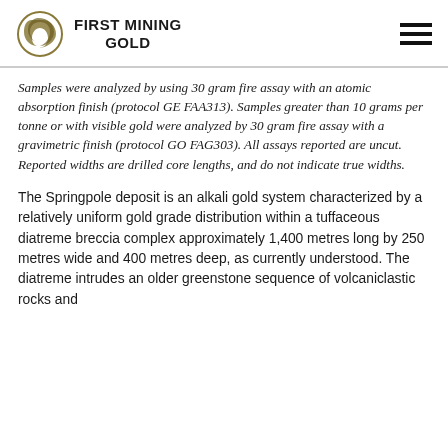First Mining Gold
Samples were analyzed by using 30 gram fire assay with an atomic absorption finish (protocol GE FAA313). Samples greater than 10 grams per tonne or with visible gold were analyzed by 30 gram fire assay with a gravimetric finish (protocol GO FAG303). All assays reported are uncut. Reported widths are drilled core lengths, and do not indicate true widths.
The Springpole deposit is an alkali gold system characterized by a relatively uniform gold grade distribution within a tuffaceous diatreme breccia complex approximately 1,400 metres long by 250 metres wide and 400 metres deep, as currently understood. The diatreme intrudes an older greenstone sequence of volcaniclastic rocks and